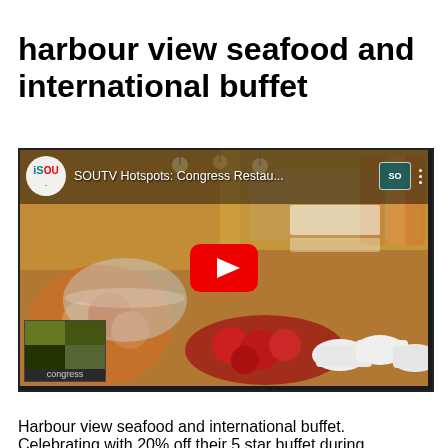harbour view seafood and international buffet
[Figure (screenshot): YouTube video thumbnail showing a buffet spread at Congress Restaurant with food items including fruits, desserts, and seafood. The video is titled 'SOUTV Hotspots: Congress Restau...' with a red YouTube play button overlay and the SOUTV logo in the top-left corner.]
Harbour view seafood and international buffet. Celebrating with 20% off their 5 star buffet during November. Seafood, Wagyu beef, King Prawns, Shashimi, Foi Gras and many